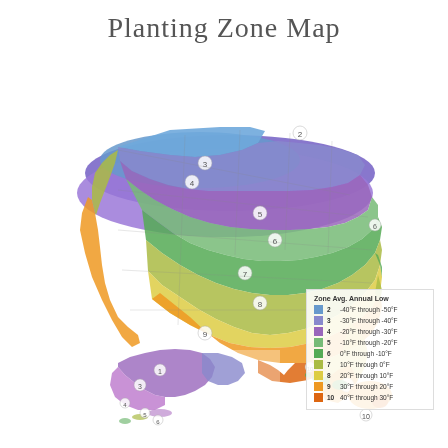Planting Zone Map
[Figure (map): USDA Plant Hardiness Zone Map of the United States including Alaska and Hawaii inset, showing zones 2 through 10 color-coded by average annual minimum temperature. Zone numbers labeled on map with circled numerals. Colors range from blue/purple in coldest northern zones to green in middle zones to yellow and orange in warmest southern zones.]
Zone Avg. Annual Low
2 - -40°F through -50°F
3 - -30°F through -40°F
4 - -20°F through -30°F
5 - -10°F through -20°F
6 - 0°F through -10°F
7 - 10°F through 0°F
8 - 20°F through 10°F
9 - 30°F through 20°F
10 - 40°F through 30°F